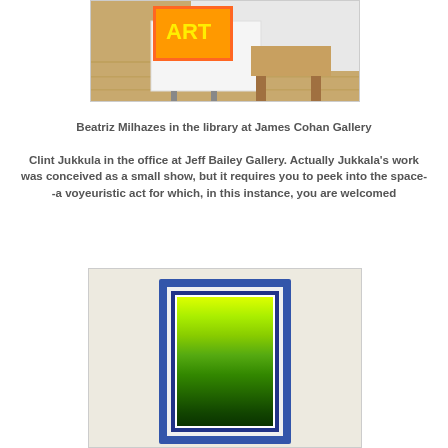[Figure (photo): Partial photo of a gallery library room with a colorful artwork on a stand and wooden floor, shown cropped at top of page]
Beatriz Milhazes in the library at James Cohan Gallery
Clint Jukkula in the office at Jeff Bailey Gallery. Actually Jukkala's work was conceived as a small show, but it requires you to peek into the space--a voyeuristic act for which, in this instance, you are welcomed
[Figure (photo): Photo of a framed painting with blue frame showing a gradient from yellow-green at top to dark green at bottom, leaning against a white wall]